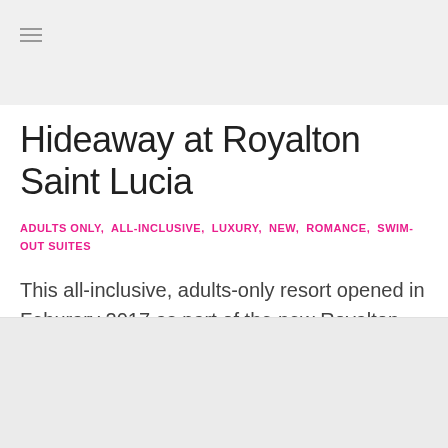[Figure (photo): Top image placeholder bar (light gray)]
Hideaway at Royalton Saint Lucia
ADULTS ONLY, ALL-INCLUSIVE, LUXURY, NEW, ROMANCE, SWIM-OUT SUITES
This all-inclusive, adults-only resort opened in Feburary 2017 as part of the new Royalton Saint Lucia Resort & Spa …
[Figure (photo): Bottom image placeholder bar (light gray)]